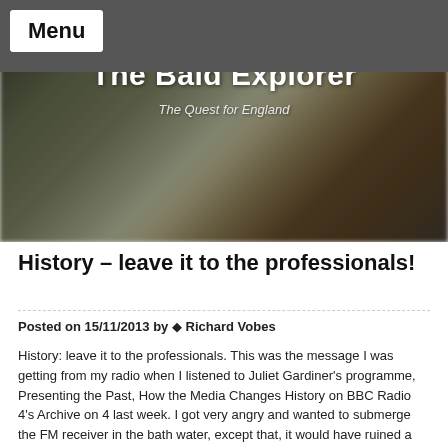[Figure (photo): Blurred outdoor photo with trees and brick building in background, used as hero banner image]
The Bald Explorer
The Quest for England
History – leave it to the professionals!
Posted on 15/11/2013 by  Richard Vobes
History: leave it to the professionals. This was the message I was getting from my radio when I listened to Juliet Gardiner's programme, Presenting the Past, How the Media Changes History on BBC Radio 4's Archive on 4 last week. I got very angry and wanted to submerge the FM receiver in the bath water, except that, it would have ruined a perfectly good old fashioned wireless and I didn't want to do that.
Juliet Gardiner might well be an eminent historian who studied at